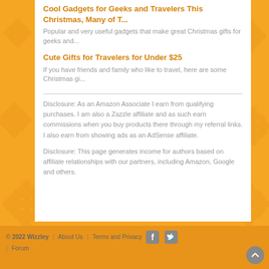Cool Gadgets for Geeks and Travelers This Christmas, Many of T...
Popular and very useful gadgets that make great Christmas gifts for geeks and...
Cute Gifts for Travelers for Under $25
If you have friends and family who like to travel, here are some Christmas gi...
Disclosure: As an Amazon Associate I earn from qualifying purchases. I am also a Zazzle affiliate and as such earn commissions when you buy products there through my referral links. I also earn from showing ads as an AdSense affiliate.
Disclosure: This page generates income for authors based on affiliate relationships with our partners, including Amazon, Google and others.
© 2022 Wizzley | About Us | Terms and Privacy | Forum